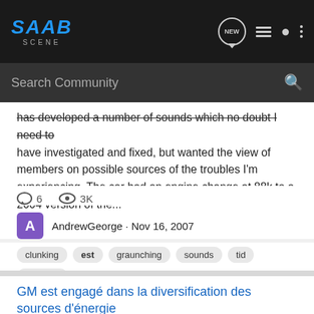[Figure (screenshot): Saab Scene website top navigation bar with logo, search bar, and icons]
has developed a number of sounds which no doubt I need to have investigated and fixed, but wanted the view of members on possible sources of the troubles I'm experiencing. The car had an engine change at 88k to a 2004 version of the...
6  3K
AndrewGeorge · Nov 16, 2007
clunking
est
graunching
sounds
tid
vibrating
GM est engagé dans la diversification des sources d'énergie
Saab News
[ Saab France ] GENEVE - Rick Wagoner, PDG de General